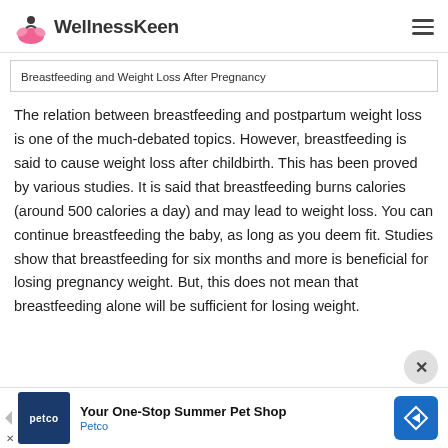WellnessKeen
Breastfeeding and Weight Loss After Pregnancy
The relation between breastfeeding and postpartum weight loss is one of the much-debated topics. However, breastfeeding is said to cause weight loss after childbirth. This has been proved by various studies. It is said that breastfeeding burns calories (around 500 calories a day) and may lead to weight loss. You can continue breastfeeding the baby, as long as you deem fit. Studies show that breastfeeding for six months and more is beneficial for losing pregnancy weight. But, this does not mean that breastfeeding alone will be sufficient for losing weight.
Your One-Stop Summer Pet Shop
Petco